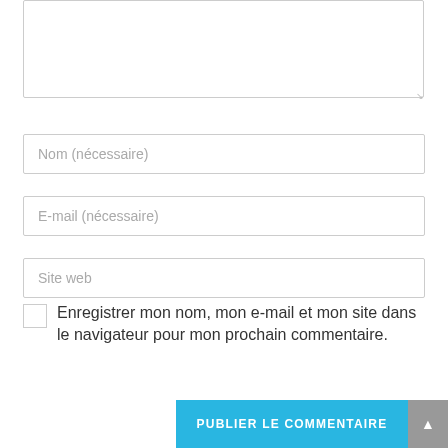[Figure (screenshot): A web comment form with a large textarea at top, three input fields (Nom nécessaire, E-mail nécessaire, Site web), a checkbox with label, and a blue submit button.]
Nom (nécessaire)
E-mail (nécessaire)
Site web
Enregistrer mon nom, mon e-mail et mon site dans le navigateur pour mon prochain commentaire.
PUBLIER LE COMMENTAIRE